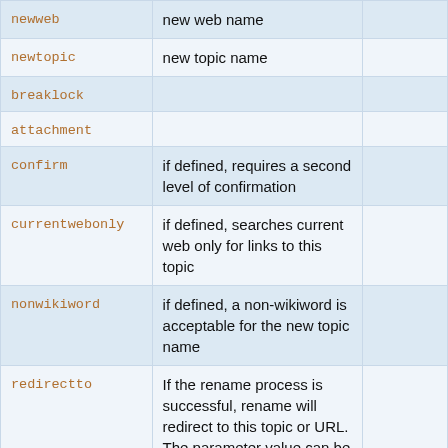|  |  |  |
| --- | --- | --- |
| newweb | new web name |  |
| newtopic | new topic name |  |
| breaklock |  |  |
| attachment |  |  |
| confirm | if defined, requires a second level of confirmation |  |
| currentwebonly | if defined, searches current web only for links to this topic |  |
| nonwikiword | if defined, a non-wikiword is acceptable for the new topic name |  |
| redirectto | If the rename process is successful, rename will redirect to this topic or URL. The parameter value can be a TopicName, a Web.TopicName, or a URL.
Note: Redirect to a URL only works if it is enabled in |  |